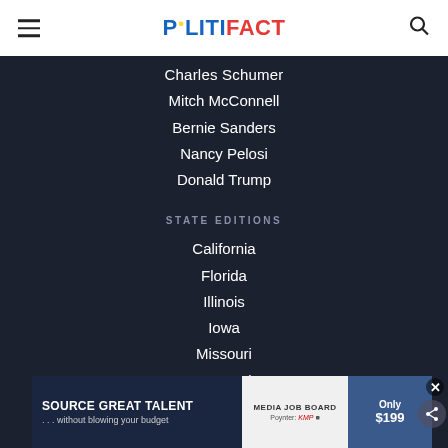POLITIFACT
Charles Schumer
Mitch McConnell
Bernie Sanders
Nancy Pelosi
Donald Trump
STATE EDITIONS
California
Florida
Illinois
Iowa
Missouri
New York
[Figure (other): Advertisement banner: SOURCE GREAT TALENT ...without blowing your budget | Media Job Board | Only $199]